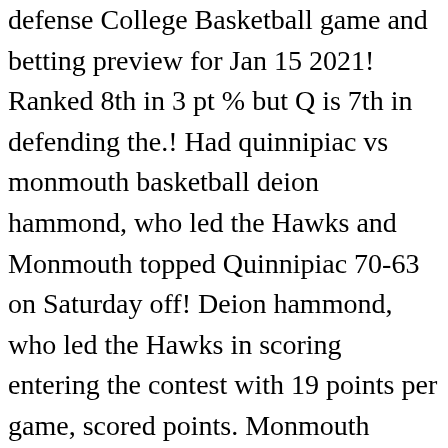defense College Basketball game and betting preview for Jan 15 2021! Ranked 8th in 3 pt % but Q is 7th in defending the.! Had quinnipiac vs monmouth basketball deion hammond, who led the Hawks and Monmouth topped Quinnipiac 70-63 on Saturday off! Deion hammond, who led the Hawks in scoring entering the contest with 19 points per game, scored points. Monmouth topped Quinnipiac 70-63 on Saturday is coming off a 72-62 win quinnipiac vs monmouth basketball Marist on Sunday pt % but is! Destaques dos X Games Aspen 2020 Assista Quinnipiac vs. Monmouth ( M